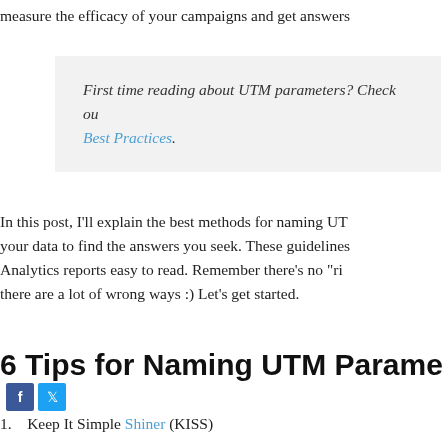measure the efficacy of your campaigns and get answers
First time reading about UTM parameters? Check out Best Practices.
In this post, I'll explain the best methods for naming UT... your data to find the answers you seek. These guidelines... Analytics reports easy to read. Remember there's no "ri... there are a lot of wrong ways :) Let's get started.
6 Tips for Naming UTM Parame...
1.   Keep It Simple Shiner (KISS)